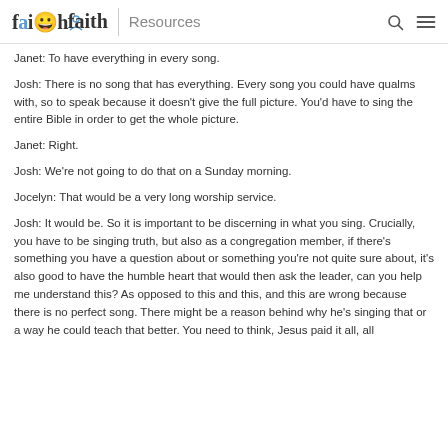faith Resources
Janet: To have everything in every song.
Josh: There is no song that has everything. Every song you could have qualms with, so to speak because it doesn't give the full picture. You'd have to sing the entire Bible in order to get the whole picture.
Janet: Right.
Josh: We're not going to do that on a Sunday morning.
Jocelyn: That would be a very long worship service.
Josh: It would be. So it is important to be discerning in what you sing. Crucially, you have to be singing truth, but also as a congregation member, if there's something you have a question about or something you're not quite sure about, it's also good to have the humble heart that would then ask the leader, can you help me understand this? As opposed to this and this, and this are wrong because there is no perfect song. There might be a reason behind why he's singing that or a way he could teach that better. You need to think, Jesus paid it all, all